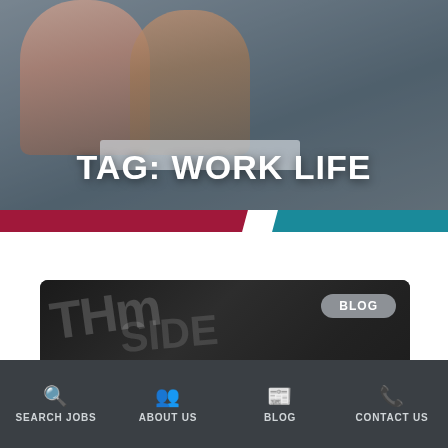[Figure (photo): Two people (a woman and a man) smiling and working together on a laptop at a desk, office setting, muted blue-gray tones]
TAG: WORK LIFE
[Figure (photo): Chalkboard with chalk writing, dark background with white chalky text. A gray 'BLOG' badge is in the upper right. Bottom bar shows 'TIMESHEET' button in crimson and '888.887.4868' phone number in dark red.]
TIMESHEET
888.887.4868
SEARCH JOBS   ABOUT US   BLOG   CONTACT US